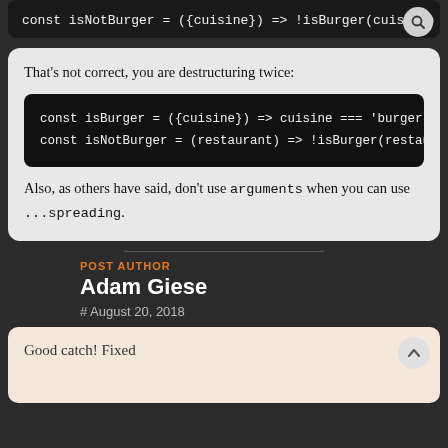const isNotBurger = ({cuisine}) => !isBurger(cuisine)
That's not correct, you are destructuring twice:
const isBurger = ({cuisine}) => cuisine === 'burger';
const isNotBurger = (restaurant) => !isBurger(restaur
Also, as others have said, don't use arguments when you can use ...spreading.
POST AUTHOR
Adam Giese
# August 20, 2018
Good catch! Fixed